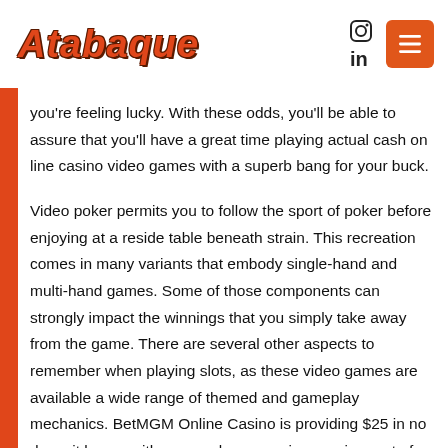Atabaque
you're feeling lucky. With these odds, you'll be able to assure that you'll have a great time playing actual cash on line casino video games with a superb bang for your buck.
Video poker permits you to follow the sport of poker before enjoying at a reside table beneath strain. This recreation comes in many variants that embody single-hand and multi-hand games. Some of those components can strongly impact the winnings that you simply take away from the game. There are several other aspects to remember when playing slots, as these video games are available a wide range of themed and gameplay mechanics. BetMGM Online Casino is providing $25 in no deposit bonus with a super low wagering requirement of